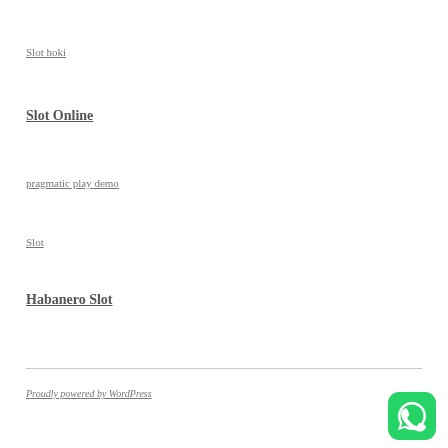Slot hoki
Slot Online
pragmatic play demo
Slot
Habanero Slot
Proudly powered by WordPress
[Figure (logo): WhatsApp logo icon — green rounded square with white phone handset speech bubble icon]